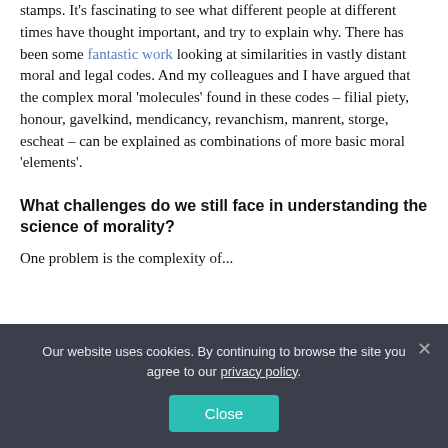make sense of their moral world. I collect them like stamps. It's fascinating to see what different people at different times have thought important, and try to explain why. There has been some fantastic work looking at similarities in vastly distant moral and legal codes. And my colleagues and I have argued that the complex moral 'molecules' found in these codes – filial piety, honour, gavelkind, mendicancy, revanchism, manrent, storge, escheat – can be explained as combinations of more basic moral 'elements'.
What challenges do we still face in understanding the science of morality?
One problem is the complexity of...
Our website uses cookies. By continuing to browse the site you agree to our privacy policy.